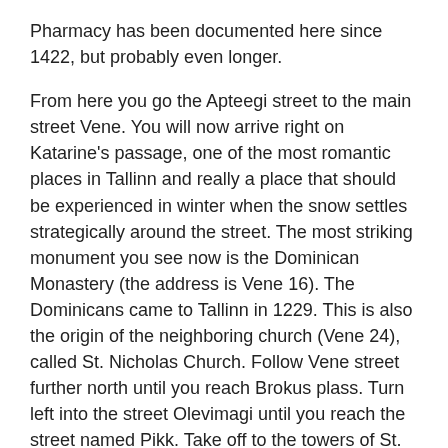Pharmacy has been documented here since 1422, but probably even longer.
From here you go the Apteegi street to the main street Vene. You will now arrive right on Katarine's passage, one of the most romantic places in Tallinn and really a place that should be experienced in winter when the snow settles strategically around the street. The most striking monument you see now is the Dominican Monastery (the address is Vene 16). The Dominicans came to Tallinn in 1229. This is also the origin of the neighboring church (Vene 24), called St. Nicholas Church. Follow Vene street further north until you reach Brokus plass. Turn left into the street Olevimagi until you reach the street named Pikk. Take off to the towers of St. Olaf's Church. This church is one of the main attractions in Tallinn, and is actually named after Olav the Holy. In the 19th century, this church was one of the tallest buildings in the world. The church must once have had a tower 159 meters up. Today, the height of the tower is 123.7 meters.
Now follow the street Lai back. You will, among other things, pass by